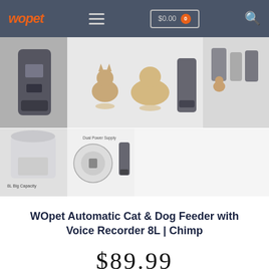WOpet | $0.00 | 0
[Figure (photo): Product image gallery showing WOpet automatic pet feeder from multiple angles: front view of dark grey feeder unit, feeder with cat and dog, feeder with dog, side-by-side product variants, close-up of food storage compartment labeled '8L Big Capacity', bottom showing 'Dual Power Supply' with product and close-up of charging port and feeder body.]
WOpet Automatic Cat & Dog Feeder with Voice Recorder 8L | Chimp
$89.99